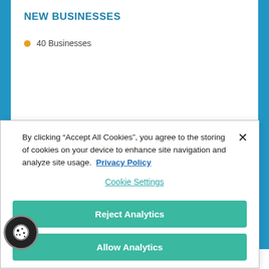NEW BUSINESSES
40 Businesses
Important Changes
By clicking “Accept All Cookies”, you agree to the storing of cookies on your device to enhance site navigation and analyze site usage. Privacy Policy
Cookie Settings
Reject Analytics
Allow Analytics